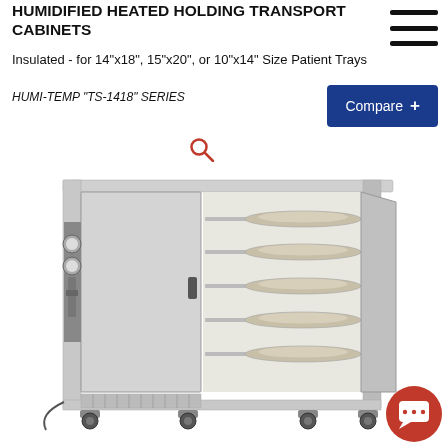HUMIDIFIED HEATED HOLDING TRANSPORT CABINETS
Insulated - for 14"x18", 15"x20", or 10"x14" Size Patient Trays
HUMI-TEMP "TS-1418" SERIES
[Figure (photo): Stainless steel humidified heated holding transport cabinet on wheels, with left door closed and right door open showing multiple shelves with covered patient trays inside]
[Figure (other): Red circular chat/support button icon in bottom right corner]